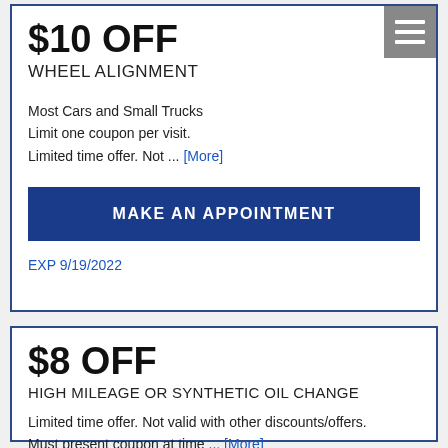$10 OFF
WHEEL ALIGNMENT
Most Cars and Small Trucks
Limit one coupon per visit.
Limited time offer. Not ... [More]
MAKE AN APPOINTMENT
EXP 9/19/2022
$8 OFF
HIGH MILEAGE OR SYNTHETIC OIL CHANGE
Limited time offer. Not valid with other discounts/offers. Must present coupon at time ... [More]